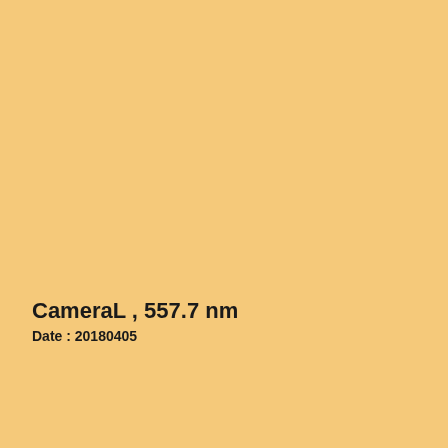CameraL , 557.7 nm
Date : 20180405
Click figure to enlarge
Came...
Came...
Came...
Came...
Came...
Came...
Came...
Came...
Came...
Came...
TILTI...
TILTI...
TILTI...
Fabry-...
Airglo...
Airglo...
Airglo...
Airglo...
Airglo...
Airglo...
3-ch p...
3-ch p...